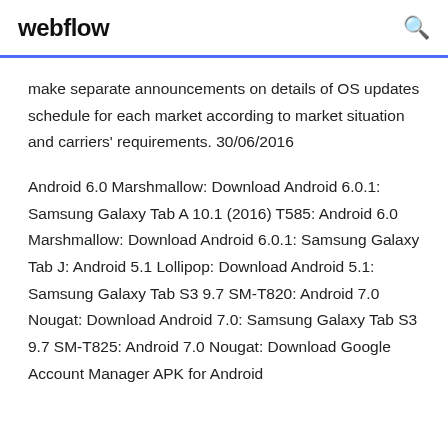webflow
make separate announcements on details of OS updates schedule for each market according to market situation and carriers' requirements. 30/06/2016
Android 6.0 Marshmallow: Download Android 6.0.1: Samsung Galaxy Tab A 10.1 (2016) T585: Android 6.0 Marshmallow: Download Android 6.0.1: Samsung Galaxy Tab J: Android 5.1 Lollipop: Download Android 5.1: Samsung Galaxy Tab S3 9.7 SM-T820: Android 7.0 Nougat: Download Android 7.0: Samsung Galaxy Tab S3 9.7 SM-T825: Android 7.0 Nougat: Download Google Account Manager APK for Android